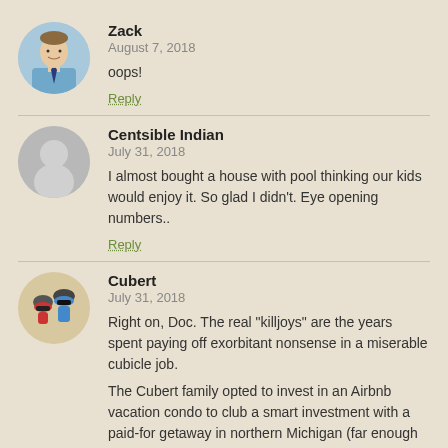[Figure (photo): Circular avatar of Zack, a man in a blue dress shirt and tie with a professional headshot style photo]
Zack
August 7, 2018
oops!
Reply
[Figure (illustration): Circular generic gray avatar silhouette (default user icon)]
Centsible Indian
July 31, 2018
I almost bought a house with pool thinking our kids would enjoy it. So glad I didn't. Eye opening numbers..
Reply
[Figure (illustration): Circular avatar showing two cartoon cyclists wearing helmets and sunglasses]
Cubert
July 31, 2018
Right on, Doc. The real "killjoys" are the years spent paying off exorbitant nonsense in a miserable cubicle job.
The Cubert family opted to invest in an Airbnb vacation condo to club a smart investment with a paid-for getaway in northern Michigan (far enough